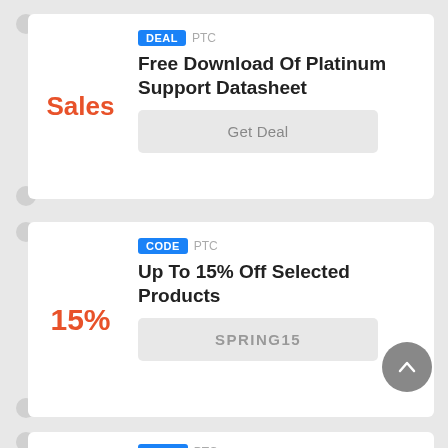Sales
DEAL  PTC
Free Download Of Platinum Support Datasheet
Get Deal
15%
CODE  PTC
Up To 15% Off Selected Products
SPRING15
CODE  PTC
Select Items On Sale At